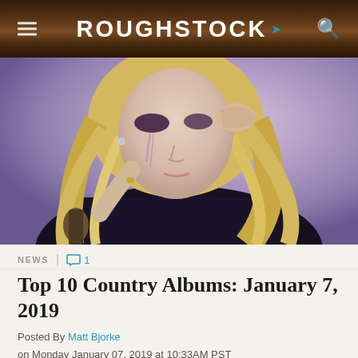ROUGHSTOCK
[Figure (photo): Blonde female country singer holding a microphone, wearing dark outfit, with dramatic makeup, purple-toned background]
NEWS | 💬 1
Top 10 Country Albums: January 7, 2019
Posted By Matt Bjorke
on Monday January 07, 2019 at 10:33AM PST
After a few weeks absence, we're back chronicling the Top 10...